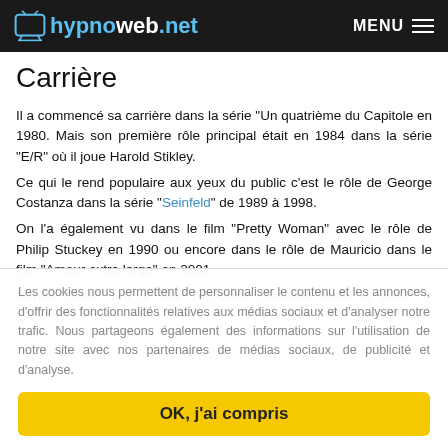hypnoweb.net  MENU
Carrière
Il a commencé sa carrière dans la série "Un quatrième du Capitole en 1980. Mais son première rôle principal était en 1984 dans la série "E/R" où il joue Harold Stikley.
Ce qui le rend populaire aux yeux du public c'est le rôle de George Costanza dans la série "Seinfeld" de 1989 à 1998.
On l'a également vu dans le film "Pretty Woman" avec le rôle de Philip Stuckey en 1990 ou encore dans le rôle de Mauricio dans le film "Amour extra large" en 2001.
Depuis 2019, il a le rôle de Asher Friedman dans la série "la fabuleuse Mme Maisel".
Les cookies nous permettent de personnaliser le contenu et les annonces, d'offrir des fonctionnalités relatives aux médias sociaux et d'analyser notre trafic. Nous partageons également des informations sur l'utilisation de notre site avec nos partenaires de médias sociaux, de publicité et d'analyse.
OK, j'ai compris